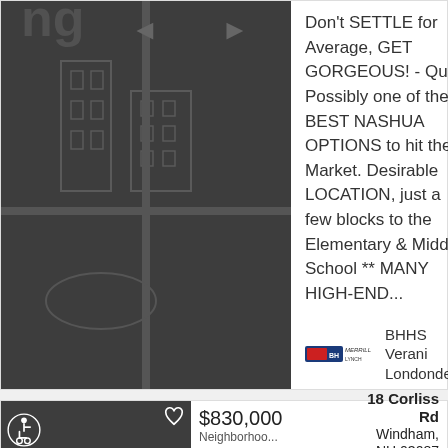[Figure (illustration): Dark gray building/city map illustration placeholder image for top listing]
Don't SETTLE for Average, GET GORGEOUS! - Quite Possibly one of the BEST NASHUA OPTIONS to hit the Market. Desirable LOCATION, just a few blocks to the Elementary & Middle School ** MANY HIGH-END...
BHHS Verani Londonderry
[Figure (illustration): Dark gray image placeholder for bottom listing with heart icon and wheelchair accessibility icon]
$830,000
Neighborhoo...
18 Corliss Rd
Windham, NH 03087